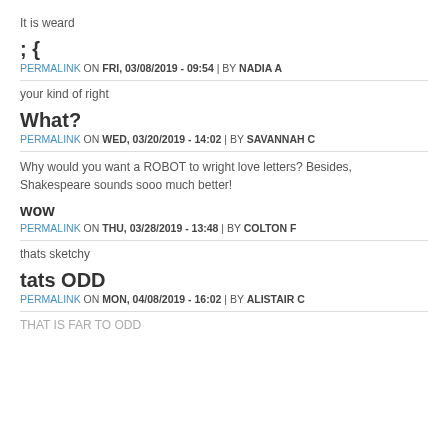It is weard
; {
PERMALINK ON FRI, 03/08/2019 - 09:54 | BY NADIA A
your kind of right
What?
PERMALINK ON WED, 03/20/2019 - 14:02 | BY SAVANNAH C
Why would you want a ROBOT to wright love letters? Besides, Shakespeare sounds sooo much better!
wow
PERMALINK ON THU, 03/28/2019 - 13:48 | BY COLTON F
thats sketchy
tats ODD
PERMALINK ON MON, 04/08/2019 - 16:02 | BY ALISTAIR C
THAT IS FAR TO ODD